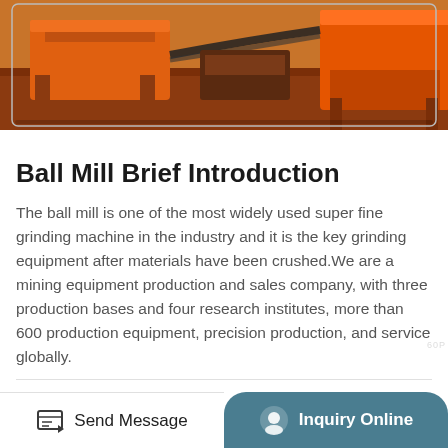[Figure (photo): Industrial mining/grinding machinery equipment (ball mill and related equipment) in orange/rust color on a red-brown floor surface, photographed in a warehouse or industrial setting.]
Ball Mill Brief Introduction
The ball mill is one of the most widely used super fine grinding machine in the industry and it is the key grinding equipment after materials have been crushed.We are a mining equipment production and sales company, with three production bases and four research institutes, more than 600 production equipment, precision production, and service globally.
60S Manual Response
Send Message
Inquiry Online